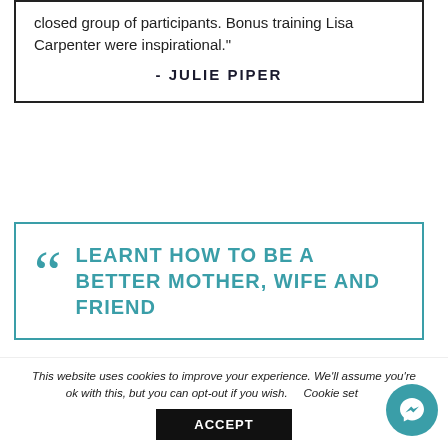closed group of participants. Bonus training Lisa Carpenter were inspirational."
- JULIE PIPER
LEARNT HOW TO BE A BETTER MOTHER, WIFE AND FRIEND
This website uses cookies to improve your experience. We'll assume you're ok with this, but you can opt-out if you wish.    Cookie settings
ACCEPT